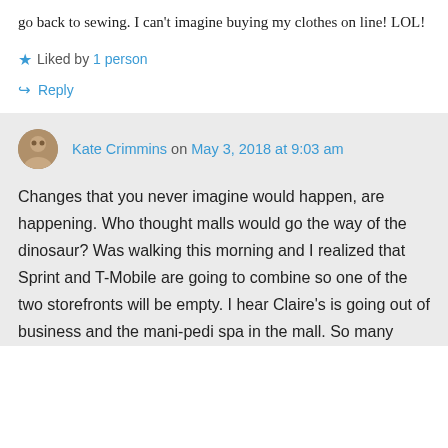go back to sewing. I can't imagine buying my clothes on line! LOL!
★ Liked by 1 person
↳ Reply
Kate Crimmins on May 3, 2018 at 9:03 am
Changes that you never imagine would happen, are happening. Who thought malls would go the way of the dinosaur? Was walking this morning and I realized that Sprint and T-Mobile are going to combine so one of the two storefronts will be empty. I hear Claire's is going out of business and the mani-pedi spa in the mall. So many